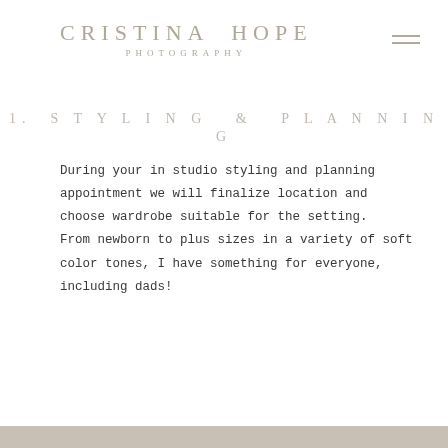CRISTINA HOPE PHOTOGRAPHY
1. STYLING & PLANNING
During your in studio styling and planning appointment we will finalize location and choose wardrobe suitable for the setting. From newborn to plus sizes in a variety of soft color tones, I have something for everyone, including dads!